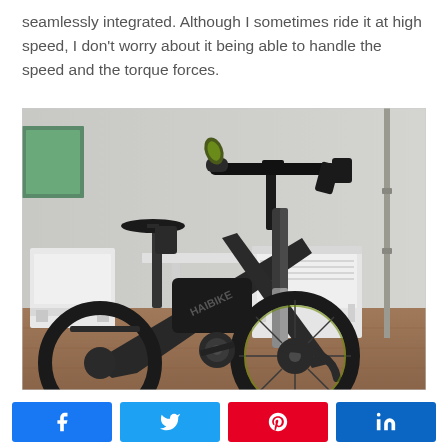seamlessly integrated. Although I sometimes ride it at high speed, I don't worry about it being able to handle the speed and the torque forces.
[Figure (photo): Close-up photo of a black electric bicycle (Haibike brand) with green-tipped handlebar grips, front suspension fork, and various accessories mounted on handlebars. White plastic patio furniture and a building wall visible in the background. The bike is parked on a brown/terracotta tiled surface.]
[Figure (infographic): Social media share buttons row: Facebook (blue), Twitter (cyan/blue), Pinterest (red), LinkedIn (dark blue)]